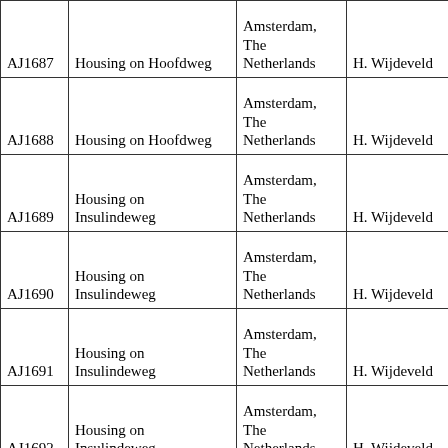| AJ1687 | Housing on Hoofdweg | Amsterdam, The Netherlands | H. Wijdeveld |
| AJ1688 | Housing on Hoofdweg | Amsterdam, The Netherlands | H. Wijdeveld |
| AJ1689 | Housing on Insulindeweg | Amsterdam, The Netherlands | H. Wijdeveld |
| AJ1690 | Housing on Insulindeweg | Amsterdam, The Netherlands | H. Wijdeveld |
| AJ1691 | Housing on Insulindeweg | Amsterdam, The Netherlands | H. Wijdeveld |
| AJ1692 | Housing on Insulindeweg | Amsterdam, The Netherlands | H. Wijdeveld |
| AJ1693 | Metro Station Entrance | Paris, France | Hector Guimard |
| AJ1694 | Metro Station Entrance | Paris, France | Hector Guimard |
| AJ1695 | Metro Station Entrance | Paris, France | Hector Guimard |
|  |  |  |  |